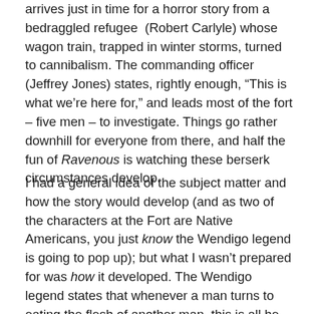arrives just in time for a horror story from a bedraggled refugee (Robert Carlyle) whose wagon train, trapped in winter storms, turned to cannibalism. The commanding officer (Jeffrey Jones) states, rightly enough, “This is what we’re here for,” and leads most of the fort – five men – to investigate. Things go rather downhill for everyone from there, and half the fun of Ravenous is watching these berserk circumstances develop.
I had a general idea of the subject matter and how the story would develop (and as two of the characters at the Fort are Native Americans, you just know the Wendigo legend is going to pop up); but what I wasn’t prepared for was how it developed. The Wendigo legend states that whenever a man turns to eating the flesh of another man, this is all he ever wants, forever. Another thread of cannibal legend – that by eating another person, you gain